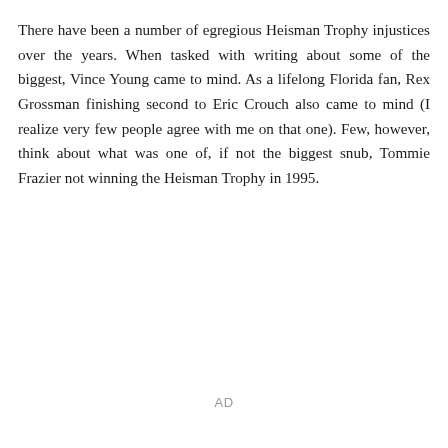There have been a number of egregious Heisman Trophy injustices over the years. When tasked with writing about some of the biggest, Vince Young came to mind. As a lifelong Florida fan, Rex Grossman finishing second to Eric Crouch also came to mind (I realize very few people agree with me on that one). Few, however, think about what was one of, if not the biggest snub, Tommie Frazier not winning the Heisman Trophy in 1995.
AD